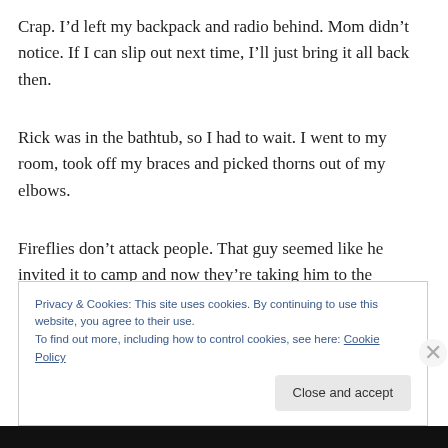Crap. I’d left my backpack and radio behind. Mom didn’t notice. If I can slip out next time, I’ll just bring it all back then.
Rick was in the bathtub, so I had to wait. I went to my room, took off my braces and picked thorns out of my elbows.
Fireflies don’t attack people. That guy seemed like he invited it to camp and now they’re taking him to the hospital. Maybe he’s dead.
Privacy & Cookies: This site uses cookies. By continuing to use this website, you agree to their use.
To find out more, including how to control cookies, see here: Cookie Policy
Close and accept